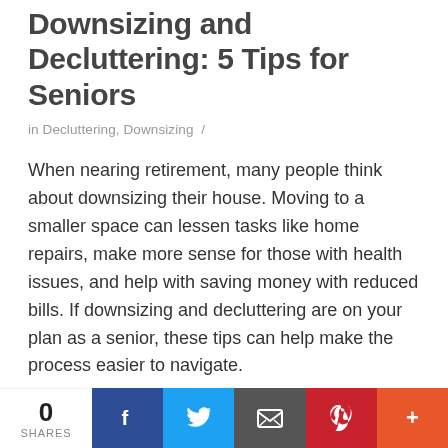Downsizing and Decluttering: 5 Tips for Seniors
in Decluttering, Downsizing /
When nearing retirement, many people think about downsizing their house. Moving to a smaller space can lessen tasks like home repairs, make more sense for those with health issues, and help with saving money with reduced bills. If downsizing and decluttering are on your plan as a senior, these tips can help make the process easier to navigate.
1.    Make Thoughtful Decisions
Before making any steps, take the time to make
0 SHARES [Facebook] [Twitter] [Email] [Pinterest] [More]